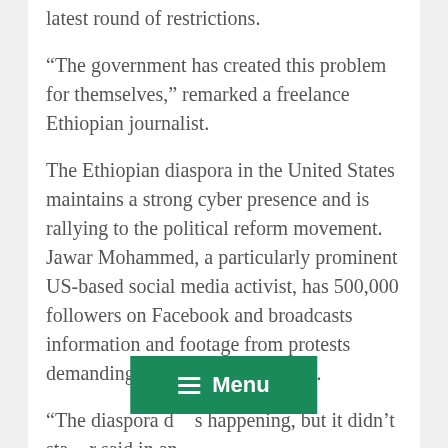latest round of restrictions.
“The government has created this problem for themselves,” remarked a freelance Ethiopian journalist.
The Ethiopian diaspora in the United States maintains a strong cyber presence and is rallying to the political reform movement. Jawar Mohammed, a particularly prominent US-based social media activist, has 500,000 followers on Facebook and broadcasts information and footage from protests demanding an end to EPRDF rule.
“The diaspora d…s happening, but it didn’t sta…r said in an